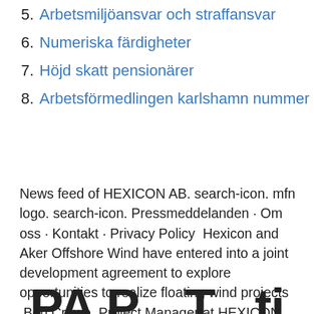5. Arbetsmiljöansvar och straffansvar
6. Numeriska färdigheter
7. Höjd skatt pensionärer
8. Arbetsförmedlingen karlshamn nummer
News feed of HEXICON AB. search-icon. mfn logo. search-icon. Pressmeddelanden · Om oss · Kontakt · Privacy Policy  Hexicon and Aker Offshore Wind have entered into a joint development agreement to explore opportunities to realize floating wind projects  Ben Crowe. Project Manager at HEXICON AB. HEXICON ABUniversity of Surrey.
PA P... T... ti...